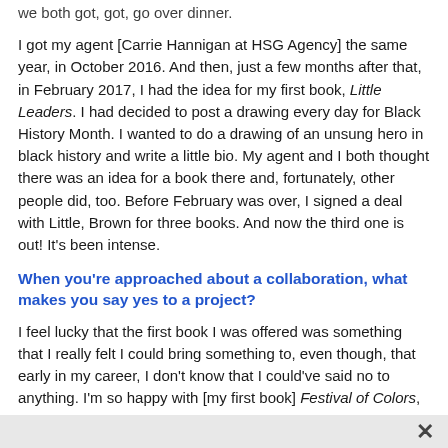we both got, got, go over dinner.
I got my agent [Carrie Hannigan at HSG Agency] the same year, in October 2016. And then, just a few months after that, in February 2017, I had the idea for my first book, Little Leaders. I had decided to post a drawing every day for Black History Month. I wanted to do a drawing of an unsung hero in black history and write a little bio. My agent and I both thought there was an idea for a book there and, fortunately, other people did, too. Before February was over, I signed a deal with Little, Brown for three books. And now the third one is out! It's been intense.
When you're approached about a collaboration, what makes you say yes to a project?
I feel lucky that the first book I was offered was something that I really felt I could bring something to, even though, that early in my career, I don't know that I could've said no to anything. I'm so happy with [my first book] Festival of Colors, a collaboration written by Kabir Sehgal and Surishtha Sehgal. That story had a lot of fun elements, like throwing holi powder around and all the flowers.